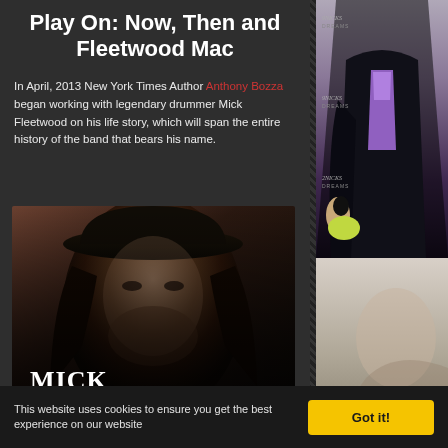Play On: Now, Then and Fleetwood Mac
In April, 2013 New York Times Author Anthony Bozza began working with legendary drummer Mick Fleetwood on his life story, which will span the entire history of the band that bears his name.
[Figure (photo): Book cover for Mick Fleetwood by Anthony Bozza, showing a man with long hair wearing a wide-brimmed hat, with 'MICK FLEETWOOD' in large text and 'by Anthony Bozza' below]
[Figure (photo): Right column photo - person standing at what appears to be a Nicks Dreams event, wearing dark jacket with purple/colorful shirt visible]
[Figure (photo): Bottom right partial photo - lighter colored image, person partially visible]
This website uses cookies to ensure you get the best experience on our website
Got it!